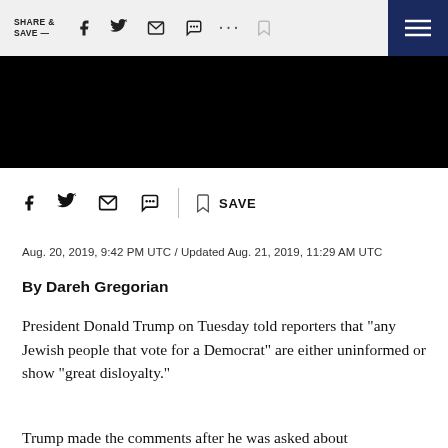SHARE & SAVE —
[Figure (screenshot): Black image area / hero image placeholder]
Aug. 20, 2019, 9:42 PM UTC / Updated Aug. 21, 2019, 11:29 AM UTC
By Dareh Gregorian
President Donald Trump on Tuesday told reporters that "any Jewish people that vote for a Democrat" are either uninformed or show "great disloyalty."
Trump made the comments after he was asked about